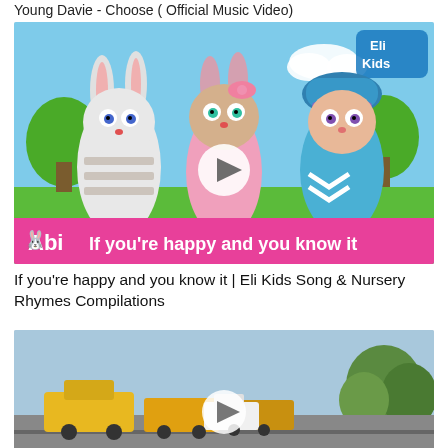Young Davie - Choose ( Official Music Video)
[Figure (screenshot): Thumbnail for Eli Kids nursery rhyme video showing three animated characters (a rabbit, a bunny girl, and a girl in blue hat) with text 'Abi If you're happy and you know it' on pink banner, with play button overlay]
If you're happy and you know it | Eli Kids Song & Nursery Rhymes Compilations
[Figure (photo): Thumbnail showing construction vehicles and heavy machinery on a road under a blue sky with trees in background, partially visible with play button overlay]